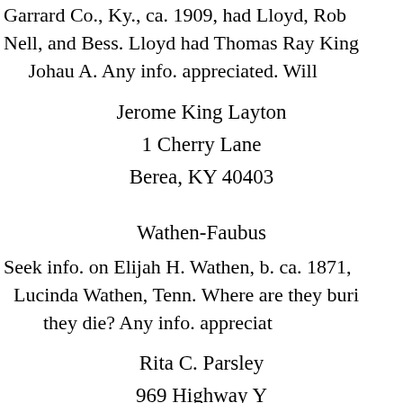Garrard Co., Ky., ca. 1909, had Lloyd, Rob Nell, and Bess. Lloyd had Thomas Ray King Johau A. Any info. appreciated. Will
Jerome King Layton
1 Cherry Lane
Berea, KY 40403
Wathen-Faubus
Seek info. on Elijah H. Wathen, b. ca. 1871, Lucinda Wathen, Tenn. Where are they buri they die? Any info. appreciat
Rita C. Parsley
969 Highway Y